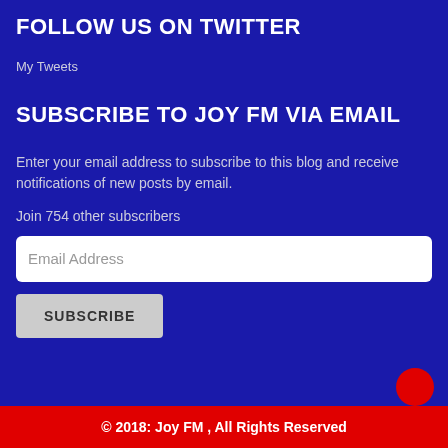FOLLOW US ON TWITTER
My Tweets
SUBSCRIBE TO JOY FM VIA EMAIL
Enter your email address to subscribe to this blog and receive notifications of new posts by email.
Join 754 other subscribers
[Figure (screenshot): Email Address input field (white rounded rectangle)]
[Figure (screenshot): SUBSCRIBE button (grey rounded rectangle)]
© 2018: Joy FM , All Rights Reserved